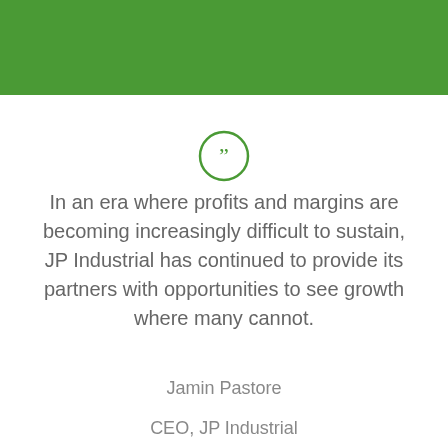[Figure (other): Green decorative header bar]
[Figure (other): Green circle with quotation mark icon]
In an era where profits and margins are becoming increasingly difficult to sustain, JP Industrial has continued to provide its partners with opportunities to see growth where many cannot.
Jamin Pastore
CEO, JP Industrial